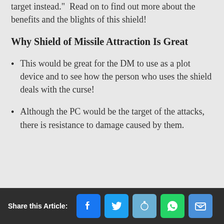target instead.”  Read on to find out more about the benefits and the blights of this shield!
Why Shield of Missile Attraction Is Great
This would be great for the DM to use as a plot device and to see how the person who uses the shield deals with the curse!
Although the PC would be the target of the attacks, there is resistance to damage caused by them.
Share this Article: